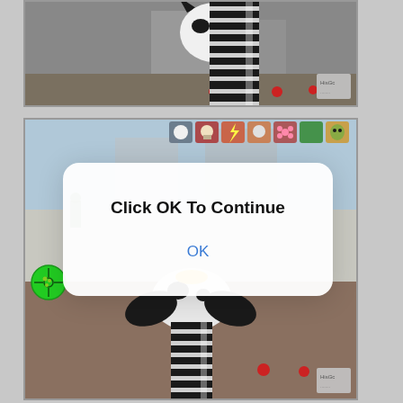[Figure (screenshot): Top screenshot: first-person shooter game view showing a cow character and striped gun barrel with green crosshair HUD element in top-left corner. Gray/brown background scene.]
[Figure (screenshot): Bottom screenshot: same first-person shooter game view with a dialog box overlay reading 'Click OK To Continue' with an OK button. Toolbar visible at top, green crosshair bottom-left, and game scene of snow/ground environment.]